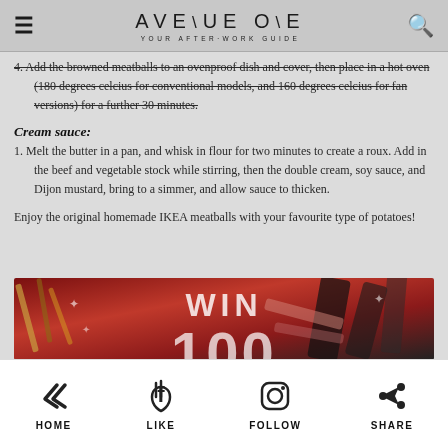AVENUE ONE — YOUR AFTER-WORK GUIDE
4. Add the browned meatballs to an ovenproof dish and cover, then place in a hot oven (180 degrees celcius for conventional models, and 160 degrees celcius for fan versions) for a further 30 minutes.
Cream sauce:
1. Melt the butter in a pan, and whisk in flour for two minutes to create a roux. Add in the beef and vegetable stock while stirring, then the double cream, soy sauce, and Dijon mustard, bring to a simmer, and allow sauce to thicken.
Enjoy the original homemade IKEA meatballs with your favourite type of potatoes!
[Figure (photo): Promotional banner with WIN text and cosmetics items in red/dark background, showing partial '100' text at bottom]
HOME   LIKE   FOLLOW   SHARE